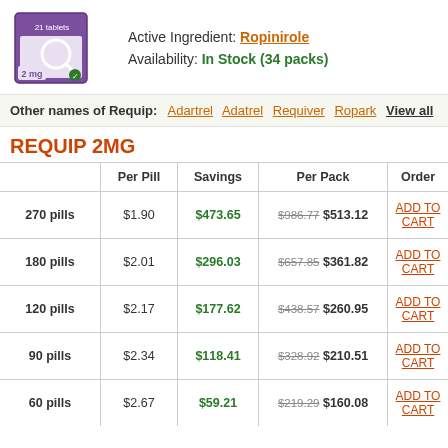[Figure (photo): Product image of Requip 2mg tablet box with a magnifying glass graphic, purple packaging, labeled '21 tablets' and '2 mg']
Active Ingredient: Ropinirole
Availability: In Stock (34 packs)
Other names of Requip: Adartrel Adatrel Requiver Ropark View all
REQUIP 2MG
|  | Per Pill | Savings | Per Pack | Order |
| --- | --- | --- | --- | --- |
| 270 pills | $1.90 | $473.65 | $986.77 $513.12 | ADD TO CART |
| 180 pills | $2.01 | $296.03 | $657.85 $361.82 | ADD TO CART |
| 120 pills | $2.17 | $177.62 | $438.57 $260.95 | ADD TO CART |
| 90 pills | $2.34 | $118.41 | $328.92 $210.51 | ADD TO CART |
| 60 pills | $2.67 | $59.21 | $219.29 $160.08 | ADD TO CART |